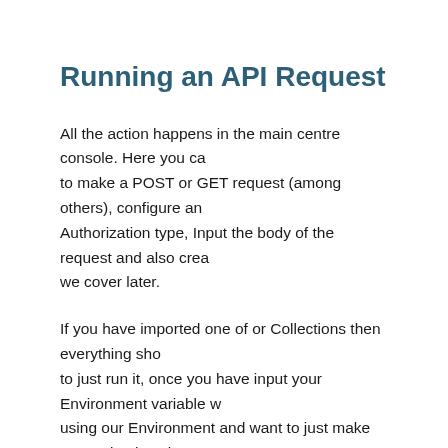Running an API Request
All the action happens in the main centre console. Here you can to make a POST or GET request (among others), configure an Authorization type, Input the body of the request and also create we cover later.
If you have imported one of or Collections then everything sho to just run it, once you have input your Environment variable w using our Environment and want to just make some simple cal that is also just as simple.
Lets take the Get Customer data API call as an example.
Request URL:
https://myteststorefront.infiqosoftware.com/services/api/